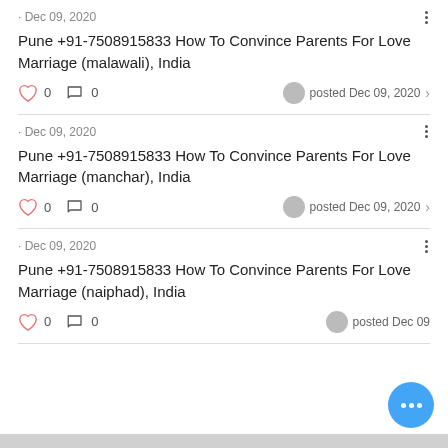· Dec 09, 2020
Pune +91-7508915833 How To Convince Parents For Love Marriage (malawali), India
0  0  posted Dec 09, 2020
· Dec 09, 2020
Pune +91-7508915833 How To Convince Parents For Love Marriage (manchar), India
0  0  posted Dec 09, 2020
· Dec 09, 2020
Pune +91-7508915833 How To Convince Parents For Love Marriage (naiphad), India
0  0  posted Dec 09